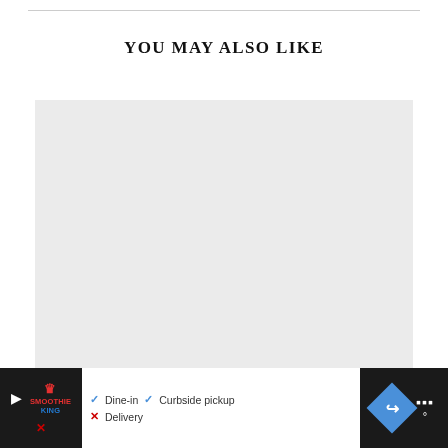YOU MAY ALSO LIKE
[Figure (photo): Large light gray placeholder image rectangle]
Best Drone With Camera Under $200
[Figure (screenshot): Ad bar overlay at bottom: dark background on left and right with a white center panel showing Dine-in (checkmark), Curbside pickup (checkmark), Delivery (X mark) options, a Smoothie King logo, a blue navigation diamond icon, and a weather widget showing dots and degree symbol.]